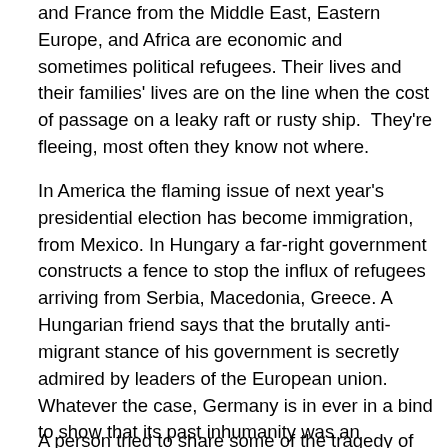and France from the Middle East, Eastern Europe, and Africa are economic and sometimes political refugees. Their lives and their families' lives are on the line when the cost of passage on a leaky raft or rusty ship.  They're fleeing, most often they know not where.
In America the flaming issue of next year's presidential election has become immigration, from Mexico. In Hungary a far-right government constructs a fence to stop the influx of refugees arriving from Serbia, Macedonia, Greece. A Hungarian friend says that the brutally anti-migrant stance of his government is secretly admired by leaders of the European union.  Whatever the case, Germany is in ever in a bind to show that its past inhumanity was an aberration. But Germany by itself cannot absorb these millions.
A person tried to share some of the tragedy of Syria...